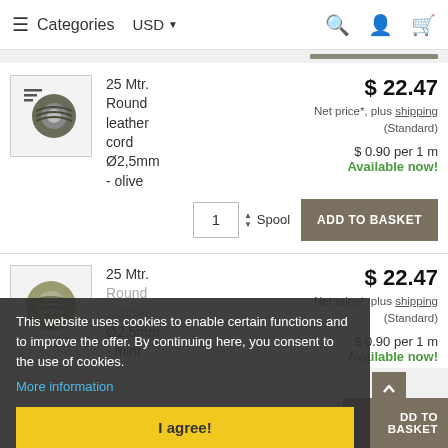≡ Categories  USD ▼  🔍 👤 🛒
[Figure (photo): Spool of olive green round leather cord]
25 Mtr.
Round leather cord
Ø2,5mm - olive
$ 22.47
Net price*, plus shipping (Standard)
$ 0.90 per 1 m
Available now!
1  Spool  ADD TO BASKET
[Figure (photo): Spool of mint green round leather cord]
25 Mtr.
Round leather cord
Ø2,5mm - mint
$ 22.47
Net price*, plus shipping (Standard)
$ 0.90 per 1 m
Available now!
This website uses cookies to enable certain functions and to improve the offer. By continuing here, you consent to the use of cookies.
More information
I agree!